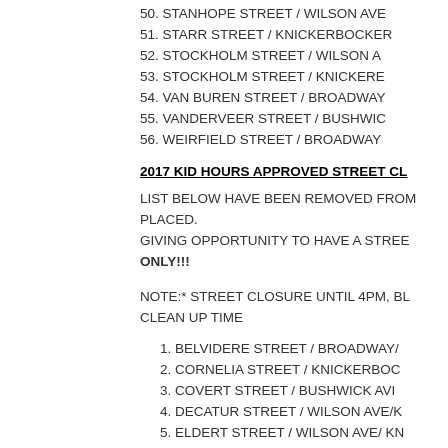50.  STANHOPE STREET / WILSON AVE
51.  STARR STREET / KNICKERBOCKER
52.  STOCKHOLM STREET /  WILSON A
53.  STOCKHOLM STREET / KNICKERE
54.  VAN BUREN STREET / BROADWAY
55.  VANDERVEER STREET / BUSHWIC
56.  WEIRFIELD STREET /  BROADWAY
2017 KID HOURS APPROVED STREET CL
LIST BELOW HAVE BEEN REMOVED FROM PLACED. GIVING OPPORTUNITY TO HAVE A STREE ONLY!!!
NOTE:* STREET CLOSURE UNTIL 4PM, BL CLEAN UP TIME
1. BELVIDERE STREET / BROADWAY/
2. CORNELIA STREET / KNICKERBOC
3. COVERT STREET /  BUSHWICK AVI
4. DECATUR STREET / WILSON AVE/K
5. ELDERT STREET / WILSON AVE/ KN
6. FAYETTE STREET / BROADWAY/BE
7. HIMROD STREET / KNICKERBOKIN
8. JEFFERSON STREET / IRVING AVE
9. LINDEN STREET / BROADWAY/BUS
10. LINDEN STREET / KNICKERBOCK